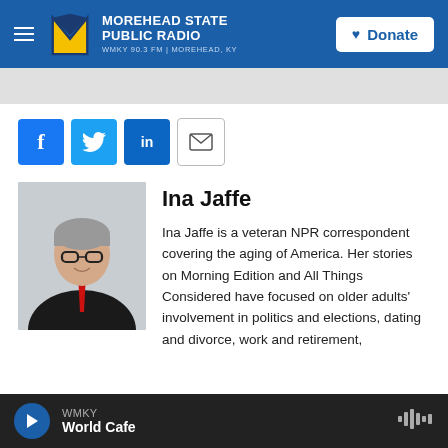Morehead State Public Radio — WMKY 90.3 FM | Morehead, KY — Donate
[Figure (screenshot): Social sharing buttons: Facebook, Twitter, LinkedIn, Email]
[Figure (photo): Headshot of Ina Jaffe — woman with short gray hair, glasses, dark blazer, red tie, arms crossed, smiling]
Ina Jaffe
Ina Jaffe is a veteran NPR correspondent covering the aging of America. Her stories on Morning Edition and All Things Considered have focused on older adults' involvement in politics and elections, dating and divorce, work and retirement,
WMKY — World Cafe